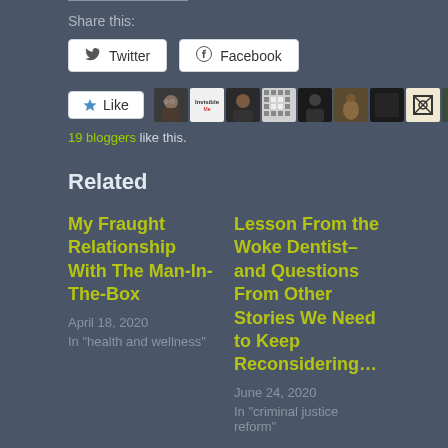Share this:
Twitter
Facebook
[Figure (other): Like button with star icon and row of 10 blogger avatar thumbnails]
19 bloggers like this.
Related
My Fraught Relationship With The Man-In-The-Box
April 18, 2020
In "health and wellness"
Lesson From the Woke Dentist–and Questions From Other Stories We Need to Keep Reconsidering…
June 24, 2020
In "criminal justice reform"